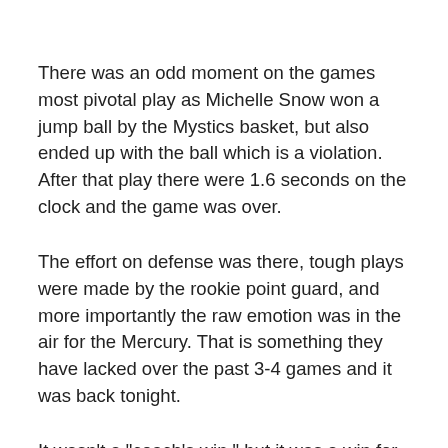There was an odd moment on the games most pivotal play as Michelle Snow won a jump ball by the Mystics basket, but also ended up with the ball which is a violation. After that play there were 1.6 seconds on the clock and the game was over.
The effort on defense was there, tough plays were made by the rookie point guard, and more importantly the raw emotion was in the air for the Mercury. That is something they have lacked over the past 3-4 games and it was back tonight.
It wasn't a "coach's win," but it was a win for the fans as they got to see Phoenix Mercury Basketball back in action despite the obvious lack in Phoenix Mercury